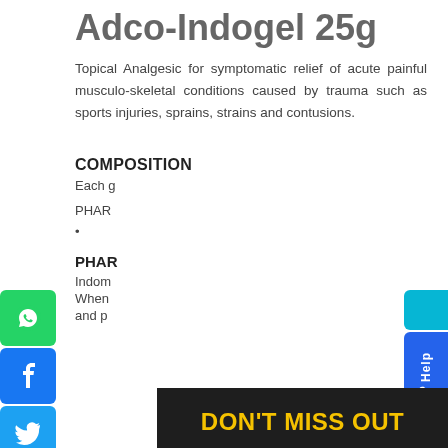Adco-Indogel 25g
Topical Analgesic for symptomatic relief of acute painful musculo-skeletal conditions caused by trauma such as sports injuries, sprains, strains and contusions.
COMPOSITION
Each g...
PHAR...
• ...
PHAR...
Indom...
When...
and p...
[Figure (screenshot): DON'T MISS OUT popup modal with yellow title text, subtitle 'Get 15% off your first order when you sign up', email address input field, and GET 15% OFF yellow button on dark background]
[Figure (screenshot): Social media sharing sidebar with WhatsApp, Facebook, Twitter, Pinterest, and Fotorama buttons on the left side of the page]